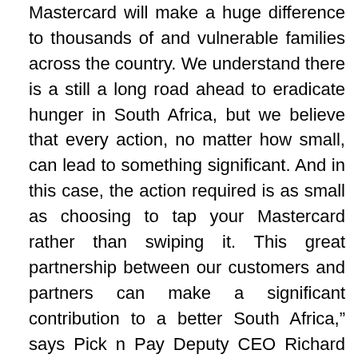Mastercard will make a huge difference to thousands of and vulnerable families across the country. We understand there is a still a long road ahead to eradicate hunger in South Africa, but we believe that every action, no matter how small, can lead to something significant. And in this case, the action required is as small as choosing to tap your Mastercard rather than swiping it. This great partnership between our customers and partners can make a significant contribution to a better South Africa," says Pick n Pay Deputy CEO Richard van Rensburg.
When the initiative concludes, the donated meals will be distributed to vulnerable women and children through FoodForward SA's network of 600 Beneficiary Organisations. MasterCard employees will also be volunteering at the FoodForward SA Mandela Day Food Drive packing events in Johannesburg and Cape Town on Mandela Day 18 July...